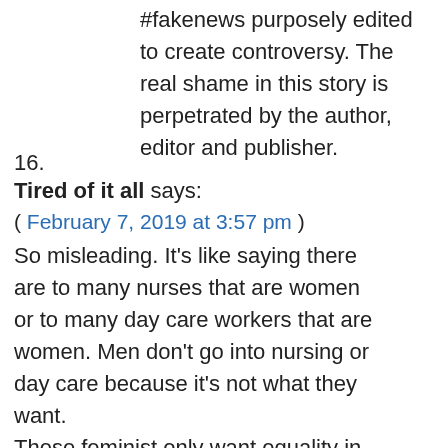#fakenews purposely edited to create controversy. The real shame in this story is perpetrated by the author, editor and publisher.
16. Tired of it all says:
( February 7, 2019 at 3:57 pm )
So misleading. It's like saying there are to many nurses that are women or to many day care workers that are women. Men don't go into nursing or day care because it's not what they want.
These feminist only want equality in certain areas not all. Don't see women complaining about not enough women on the back of garbage trucks,